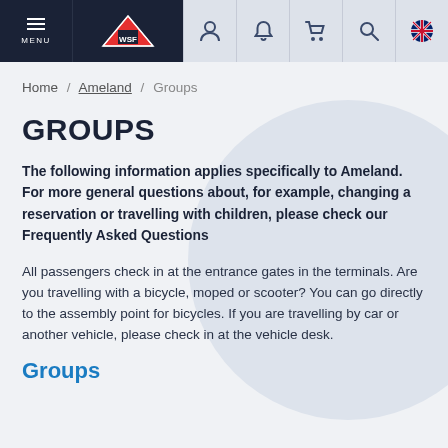MENU | [logo] | [user icon] | [bell icon] | [cart icon] | [search icon] | [UK flag icon]
Home / Ameland / Groups
GROUPS
The following information applies specifically to Ameland. For more general questions about, for example, changing a reservation or travelling with children, please check our Frequently Asked Questions
All passengers check in at the entrance gates in the terminals. Are you travelling with a bicycle, moped or scooter? You can go directly to the assembly point for bicycles. If you are travelling by car or another vehicle, please check in at the vehicle desk.
Groups